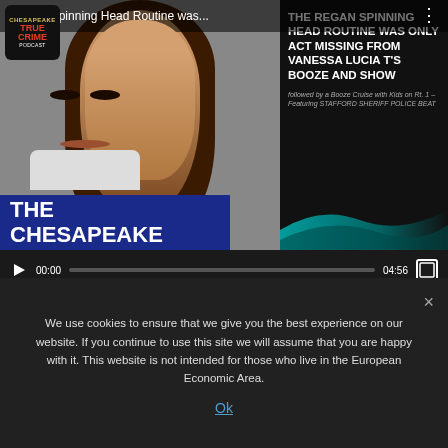[Figure (screenshot): YouTube-style embedded video player showing a true crime video titled 'Regan Spinning Head Routine was...' with thumbnail of a woman and text overlay. Controls show 00:00 / 04:56.]
THE CASE OF THE DRUNKEN SKUNK DRIVER DANIEL VEGA HERNANDEZ
We use cookies to ensure that we give you the best experience on our website. If you continue to use this site we will assume that you are happy with it. This website is not intended for those who live in the European Economic Area.
Ok